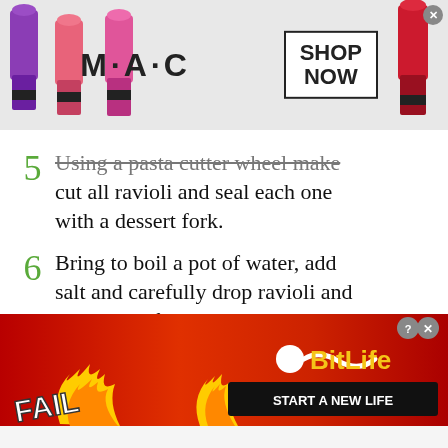[Figure (screenshot): MAC Cosmetics advertisement banner with lipsticks and SHOP NOW button]
5 Using a pasta cutter wheel make cut all ravioli and seal each one with a dessert fork.
6 Bring to boil a pot of water, add salt and carefully drop ravioli and cook them for 2-3 minutes.
7 Mix them with the pesto and serve sprinkled with some almond flakes.
[Figure (screenshot): BitLife game advertisement with FAIL text, cartoon emoji, flames, and START A NEW LIFE button]